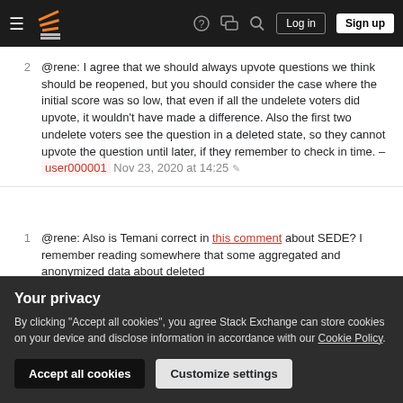Stack Exchange navigation bar with hamburger menu, logo, help, chat, search icons, Log in and Sign up buttons
@rene: I agree that we should always upvote questions we think should be reopened, but you should consider the case where the initial score was so low, that even if all the undelete voters did upvote, it wouldn't have made a difference. Also the first two undelete voters see the question in a deleted state, so they cannot upvote the question until later, if they remember to check in time. – user000001 Nov 23, 2020 at 14:25
@rene: Also is Temani correct in this comment about SEDE? I remember reading somewhere that some aggregated and anonymized data about deleted
Your privacy
By clicking "Accept all cookies", you agree Stack Exchange can store cookies on your device and disclose information in accordance with our Cookie Policy.
Accept all cookies
Customize settings
There are 4 resultsets, matching each of your bullets.